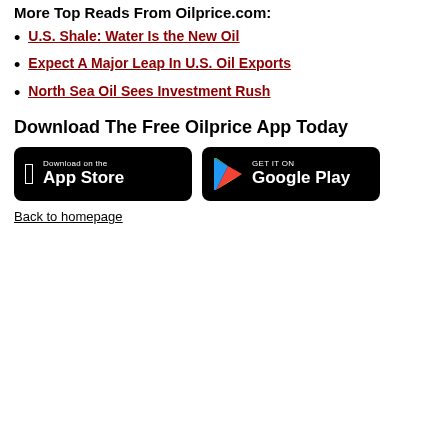More Top Reads From Oilprice.com:
U.S. Shale: Water Is the New Oil
Expect A Major Leap In U.S. Oil Exports
North Sea Oil Sees Investment Rush
Download The Free Oilprice App Today
[Figure (screenshot): App Store and Google Play download badges on black background]
Back to homepage
[Figure (screenshot): Dark themed dashboard screenshot showing MICHIGAN text in green letters at the bottom with data rows and chart elements]